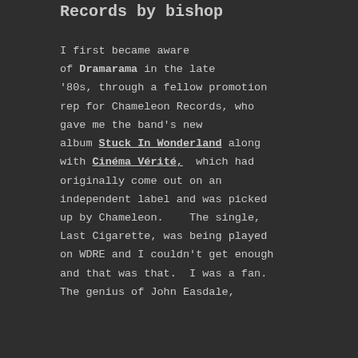Records by bishop
I first became aware of Dramarama in the late '80s, through a fellow promotion rep for Chameleon Records, who gave me the band's new album Stuck In Wonderland along with Cinéma Vérité, which had originally come out on an independent label and was picked up by Chameleon.   The single, Last Cigarette, was being played on WDRE and I couldn't get enough and that was that.  I was a fan.  The genius of John Easdale,